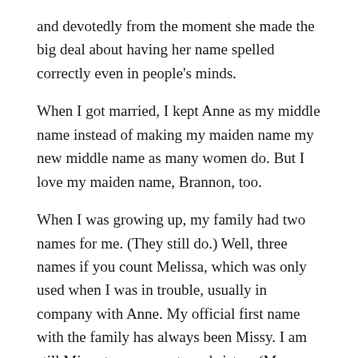and devotedly from the moment she made the big deal about having her name spelled correctly even in people's minds.
When I got married, I kept Anne as my middle name instead of making my maiden name my new middle name as many women do. But I love my maiden name, Brannon, too.
When I was growing up, my family had two names for me. (They still do.) Well, three names if you count Melissa, which was only used when I was in trouble, usually in company with Anne. My official first name with the family has always been Missy. I am still Missy to my parents and sisters (Merry and Molly) and cousins and some of my high-school friends. And that's fine; Missy is a comfy and friendly name, I think.
But at home, growing up, I was always Lissa too. Casually,